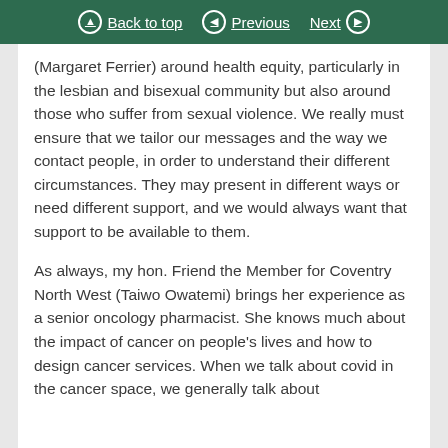Back to top | Previous | Next
(Margaret Ferrier) around health equity, particularly in the lesbian and bisexual community but also around those who suffer from sexual violence. We really must ensure that we tailor our messages and the way we contact people, in order to understand their different circumstances. They may present in different ways or need different support, and we would always want that support to be available to them.
As always, my hon. Friend the Member for Coventry North West (Taiwo Owatemi) brings her experience as a senior oncology pharmacist. She knows much about the impact of cancer on people’s lives and how to design cancer services. When we talk about covid in the cancer space, we generally talk about [text continues]